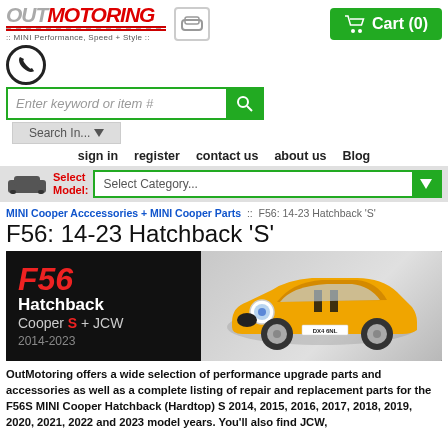[Figure (logo): OutMotoring logo with car icon and tagline ':: MINI Performance, Speed + Style ::']
[Figure (other): Shopping cart button showing Cart (0) in green]
[Figure (other): Phone icon circle]
[Figure (other): Search bar with keyword input and green search button]
[Figure (other): Search In... dropdown]
sign in   register   contact us   about us   Blog
[Figure (other): Select Model dropdown with car icon and Select Category... dropdown]
MINI Cooper Acccessories + MINI Cooper Parts  ::  F56: 14-23 Hatchback 'S'
F56: 14-23 Hatchback 'S'
[Figure (photo): Hero banner showing F56 Hatchback Cooper S + JCW 2014-2023 text on black background left side, yellow MINI Cooper S car on grey background right side]
OutMotoring offers a wide selection of performance upgrade parts and accessories as well as a complete listing of repair and replacement parts for the F56S MINI Cooper Hatchback (Hardtop) S 2014, 2015, 2016, 2017, 2018, 2019, 2020, 2021, 2022 and 2023 model years. You'll also find JCW,